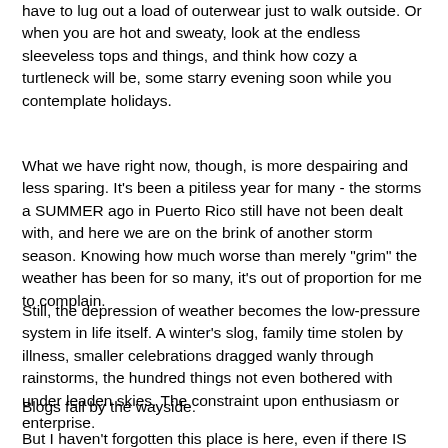have to lug out a load of outerwear just to walk outside. Or when you are hot and sweaty, look at the endless sleeveless tops and things, and think how cozy a turtleneck will be, some starry evening soon while you contemplate holidays.
What we have right now, though, is more despairing and less sparing. It's been a pitiless year for many - the storms a SUMMER ago in Puerto Rico still have not been dealt with, and here we are on the brink of another storm season. Knowing how much worse than merely "grim" the weather has been for so many, it's out of proportion for me to complain.
Still, the depression of weather becomes the low-pressure system in life itself. A winter's slog, family time stolen by illness, smaller celebrations dragged wanly through rainstorms, the hundred things not even bothered with under leaden skies. The constraint upon enthusiasm or enterprise.
Blogs fall by the wayside.
But I haven't forgotten this place is here, even if there IS